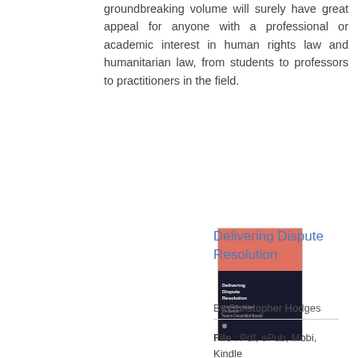groundbreaking volume will surely have great appeal for anyone with a professional or academic interest in human rights law and humanitarian law, from students to professors to practitioners in the field.
[Figure (illustration): Book cover of 'Delivering Dispute Resolution' with a red top section and dark navy/black bottom section showing the title and author text]
Delivering Dispute Resolution
By Christopher Hodges
File : Pdf, ePub, Mobi, Kindle
Publisher : Bloomsbury Publishing
Book Code : 1509916911